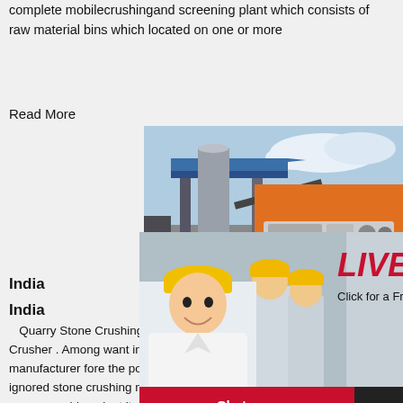complete mobilecrushingand screening plant which consists of raw material bins which located on one or more
Read More
[Figure (photo): Industrial plant/factory building with blue roof, steel structure]
India...
India...
[Figure (photo): Live Chat overlay with woman in hard hat and three workers in background. Title: LIVE CHAT, subtitle: Click for a Free Consultation. Buttons: Chat now, Chat later.]
[Figure (photo): Orange right sidebar with crushing machine images, Enjoy 3% discount banner, Click to Chat button, Enquiry button, limingjlmofen@sina.com email.]
Quarry Stone Crushing Machines In India... Crusher . Among want india crushing machine... manufacturer fore the power of technology ca... ignored stone crushing machines is an integra... quarry crushing plant its market demand no d... with the development of the industry quarry st... crushing machines requirements will be rising so the relevant india crushing machine manufacturer